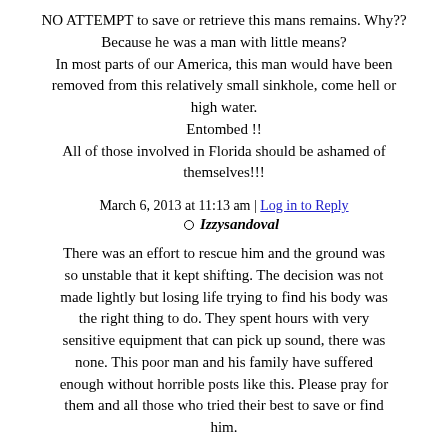NO ATTEMPT to save or retrieve this mans remains. Why?? Because he was a man with little means? In most parts of our America, this man would have been removed from this relatively small sinkhole, come hell or high water. Entombed !! All of those involved in Florida should be ashamed of themselves!!!
March 6, 2013 at 11:13 am | Log in to Reply
Izzysandoval
There was an effort to rescue him and the ground was so unstable that it kept shifting. The decision was not made lightly but losing life trying to find his body was the right thing to do. They spent hours with very sensitive equipment that can pick up sound, there was none. This poor man and his family have suffered enough without horrible posts like this. Please pray for them and all those who tried their best to save or find him.
March 16, 2013 at 11:56 pm | Log in to Reply
2. P G Williams